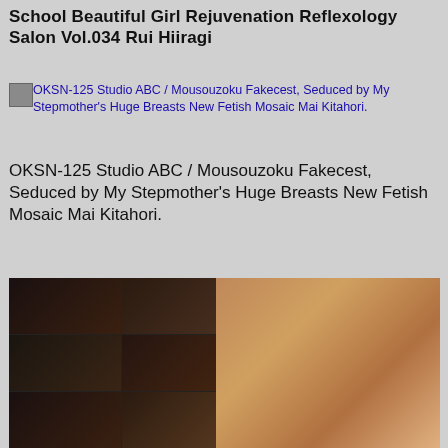School Beautiful Girl Rejuvenation Reflexology Salon Vol.034 Rui Hiiragi
[Figure (other): Thumbnail image placeholder icon for OKSN-125]
OKSN-125 Studio ABC / Mousouzoku Fakecest, Seduced by My Stepmother's Huge Breasts New Fetish Mosaic Mai Kitahori.
OKSN-125 Studio ABC / Mousouzoku Fakecest, Seduced by My Stepmother's Huge Breasts New Fetish Mosaic Mai Kitahori.
[Figure (photo): Japanese adult video DVD cover image with Japanese text and a woman, collage of scenes on the left half and main model image on the right half]